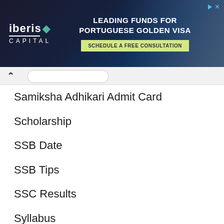[Figure (screenshot): Iberis Capital advertisement banner for Portuguese Golden Visa. Text reads 'LEADING FUNDS FOR PORTUGUESE GOLDEN VISA' with a 'SCHEDULE A FREE CONSULTATION' button. Logo shows 'iberis CAPITAL' on dark blue background with city skyline.]
Samiksha Adhikari Admit Card
Scholarship
SSB Date
SSB Tips
SSC Results
Syllabus
Tamil Nadu
Teacher Admit Card
Teacher Recruitment
Teacher Result
Tech
Telangana